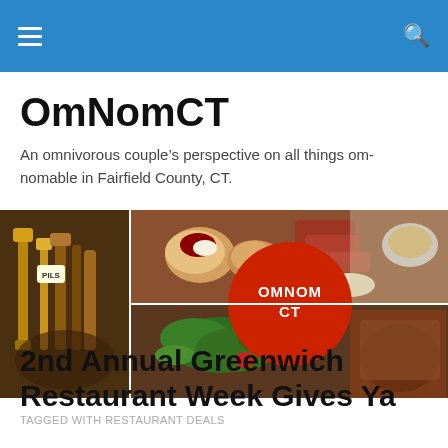OmNomCT navigation bar
OmNomCT
An omnivorous couple’s perspective on all things om-nomable in Fairfield County, CT.
[Figure (photo): Banner collage of food photos and bar taps with OmNomCT logo in center]
TAGGED WITH RESTAURANT DEALS
2nd Annual Greenwich Restaurant Week Gives Ya